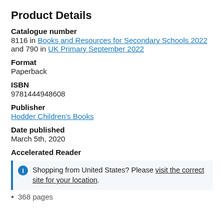Product Details
Catalogue number
8116 in Books and Resources for Secondary Schools 2022 and 790 in UK Primary September 2022
Format
Paperback
ISBN
9781444948608
Publisher
Hodder Children's Books
Date published
March 5th, 2020
Accelerated Reader
Shopping from United States? Please visit the correct site for your location.
368 pages